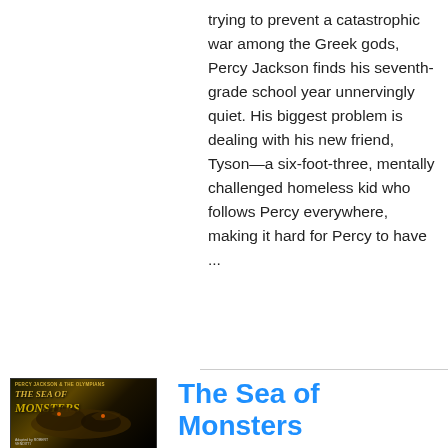trying to prevent a catastrophic war among the Greek gods, Percy Jackson finds his seventh-grade school year unnervingly quiet. His biggest problem is dealing with his new friend, Tyson—a six-foot-three, mentally challenged homeless kid who follows Percy everywhere, making it hard for Percy to have ...
[Figure (illustration): Book cover of 'The Sea of Monsters' from Percy Jackson & the Olympians series, showing dark fantasy artwork with creatures, authored by Robert Venditti]
The Sea of Monsters
Author : Robert Venditti